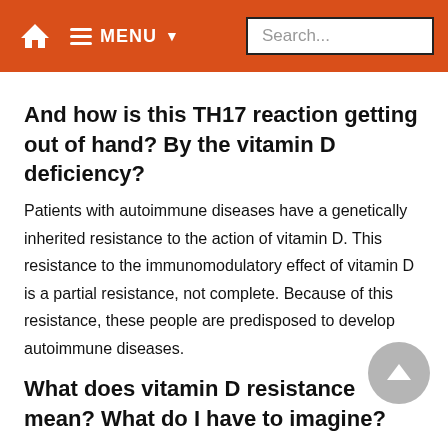MENU Search...
And how is this TH17 reaction getting out of hand? By the vitamin D deficiency?
Patients with autoimmune diseases have a genetically inherited resistance to the action of vitamin D. This resistance to the immunomodulatory effect of vitamin D is a partial resistance, not complete. Because of this resistance, these people are predisposed to develop autoimmune diseases.
What does vitamin D resistance mean? What do I have to imagine?
The exact mechanism of this resistance is not yet clear. There are already several known diseases associated with various genetic